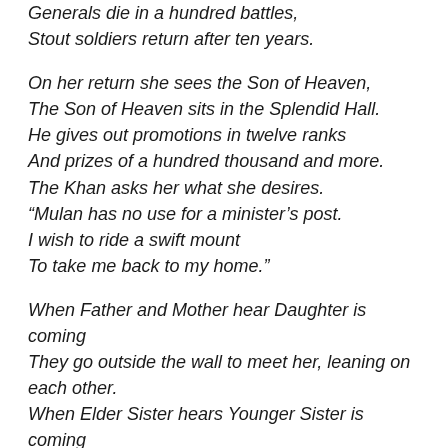Generals die in a hundred battles,
Stout soldiers return after ten years.

On her return she sees the Son of Heaven,
The Son of Heaven sits in the Splendid Hall.
He gives out promotions in twelve ranks
And prizes of a hundred thousand and more.
The Khan asks her what she desires.
“Mulan has no use for a minister’s post.
I wish to ride a swift mount
To take me back to my home.”

When Father and Mother hear Daughter is coming
They go outside the wall to meet her, leaning on each other.
When Elder Sister hears Younger Sister is coming
She fixes her rouge, facing the door.